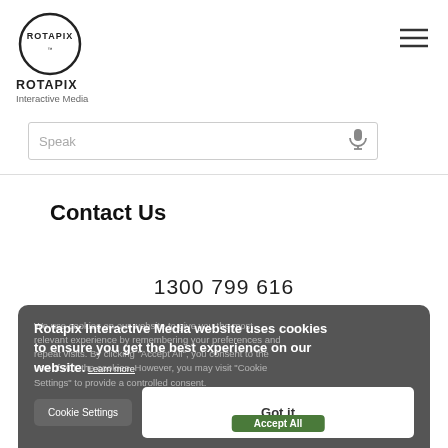[Figure (logo): Rotapix Interactive Media logo: circular outline with ROTAPIX text and 'Interactive Media' subtitle]
Speak
Contact Us
1300 799 616
Rotapix Interactive Media website uses cookies to ensure you get the best experience on our website. Learn more
Cookie Settings
Got it
Accept All